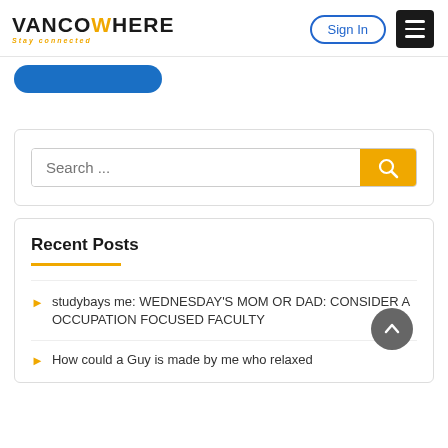[Figure (logo): VancoWhere logo with stylized W in yellow/gold and tagline 'Stay connected']
Sign In
Recent Posts
studybays me: WEDNESDAY'S MOM OR DAD: CONSIDER A OCCUPATION FOCUSED FACULTY
How could a Guy is made by me who relaxed